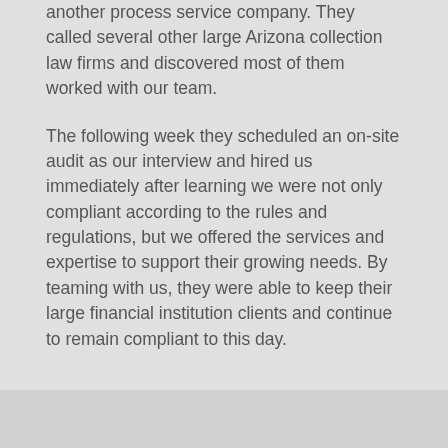another process service company. They called several other large Arizona collection law firms and discovered most of them worked with our team.
The following week they scheduled an on-site audit as our interview and hired us immediately after learning we were not only compliant according to the rules and regulations, but we offered the services and expertise to support their growing needs. By teaming with us, they were able to keep their large financial institution clients and continue to remain compliant to this day.